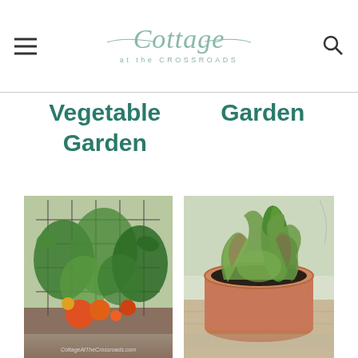Cottage at the Crossroads
Vegetable Garden Garden
[Figure (photo): Tomato plants growing on wire cages in a garden, with ripe red and orange tomatoes visible. Watermark: CottageAtTheCrossroads.com]
[Figure (photo): Lettuce plants growing in a terracotta pot filled with dark soil, on a wooden surface outdoors.]